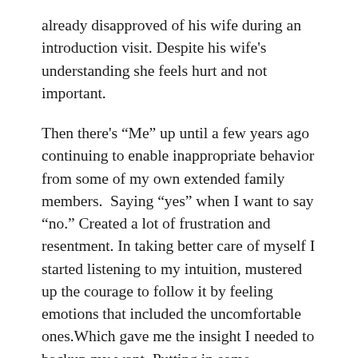already disapproved of his wife during an introduction visit. Despite his wife's understanding she feels hurt and not important.
Then there's "Me" up until a few years ago continuing to enable inappropriate behavior from some of my own extended family members. Saying "yes" when I want to say "no." Created a lot of frustration and resentment. In taking better care of myself I started listening to my intuition, mustered up the courage to follow it by feeling emotions that included the uncomfortable ones.Which gave me the insight I needed to backup my want. Putting in some boundaries to get the groundedness I needed to actually make an informed decision of whether it was a yes or a no.